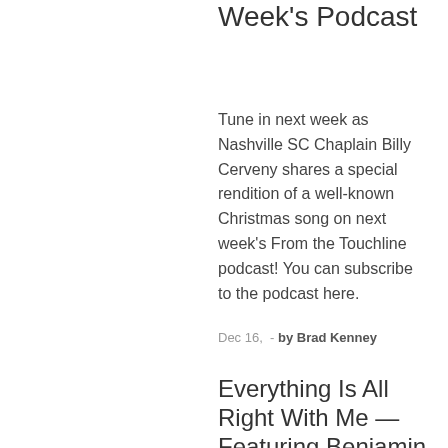Week's Podcast
Tune in next week as Nashville SC Chaplain Billy Cerveny shares a special rendition of a well-known Christmas song on next week's From the Touchline podcast! You can subscribe to the podcast here.
Dec 16,  - by Brad Kenney
Everything Is All Right With Me — Featuring Benjamin Dudley
There is a lot of talent amongst the folks that comprise the